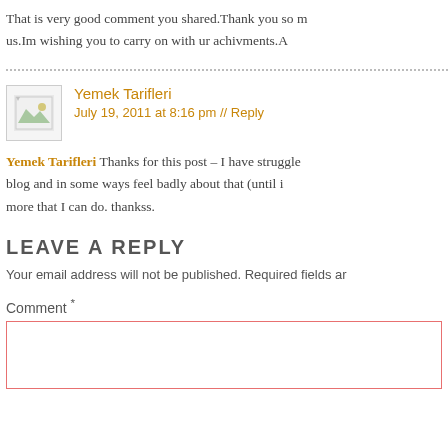That is very good comment you shared.Thank you so much for sharing with us.Im wishing you to carry on with ur achivments.A
Yemek Tarifleri
July 19, 2011 at 8:16 pm // Reply
Yemek Tarifleri Thanks for this post – I have struggled with a blog and in some ways feel badly about that (until i more that I can do. thankss.
LEAVE A REPLY
Your email address will not be published. Required fields ar
Comment *